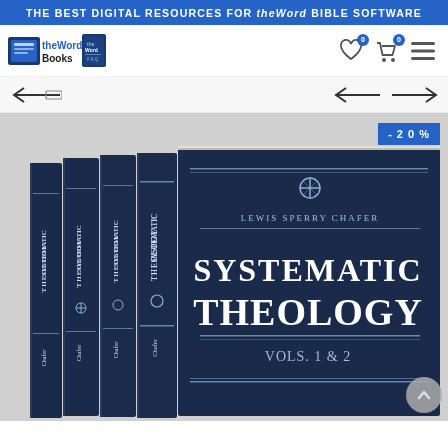THE BEST DIGITAL RESOURCES FOR theWord BIBLE SOFTWARE
[Figure (logo): theWord Books logo with text 'theWord Books' and a book icon]
[Figure (infographic): Navigation icons: heart (wishlist, 0), cart (0), and hamburger menu]
[Figure (infographic): Breadcrumb navigation with back arrow and prev/next navigation arrows]
[Figure (infographic): Discount badge showing -20%]
[Figure (photo): Photo of multiple dark navy blue hardcover volumes of 'Systematic Theology Vols. 1 & 2' by Lewis Sperry Chafer, standing upright showing spines and front cover]